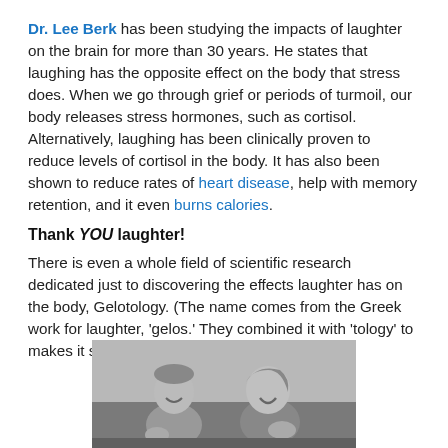Dr. Lee Berk has been studying the impacts of laughter on the brain for more than 30 years. He states that laughing has the opposite effect on the body that stress does. When we go through grief or periods of turmoil, our body releases stress hormones, such as cortisol. Alternatively, laughing has been clinically proven to reduce levels of cortisol in the body. It has also been shown to reduce rates of heart disease, help with memory retention, and it even burns calories.
Thank YOU laughter!
There is even a whole field of scientific research dedicated just to discovering the effects laughter has on the body, Gelotology. (The name comes from the Greek work for laughter, 'gelos.' They combined it with 'tology' to makes it sound more sciencey.)
[Figure (photo): Black and white photograph of two people laughing, seated, appearing to be in an audience or theater setting]